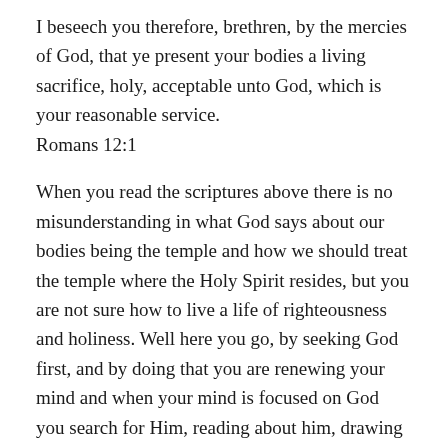I beseech you therefore, brethren, by the mercies of God, that ye present your bodies a living sacrifice, holy, acceptable unto God, which is your reasonable service. Romans 12:1
When you read the scriptures above there is no misunderstanding in what God says about our bodies being the temple and how we should treat the temple where the Holy Spirit resides, but you are not sure how to live a life of righteousness and holiness. Well here you go, by seeking God first, and by doing that you are renewing your mind and when your mind is focused on God you search for Him, reading about him, drawing closer to him, which feeds the Holy Spirit that dwelleth